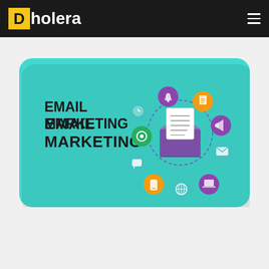Dholera
[Figure (illustration): Email marketing promotional card with teal background, bold text 'EMAIL MARKETING' on left, and an email marketing icon illustration on the right showing an open envelope with a document, surrounded by various marketing-related icons in purple, teal, and orange circles.]
EMAIL MARKETING